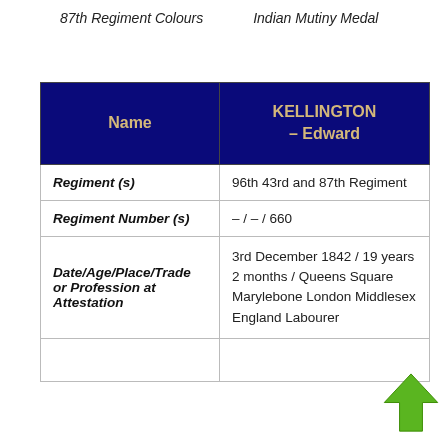87th Regiment Colours    Indian Mutiny Medal
| Name | KELLINGTON – Edward |
| --- | --- |
| Regiment (s) | 96th 43rd and 87th Regiment |
| Regiment Number (s) | – / – / 660 |
| Date/Age/Place/Trade or Profession at Attestation | 3rd December 1842 / 19 years 2 months / Queens Square Marylebone London Middlesex England Labourer |